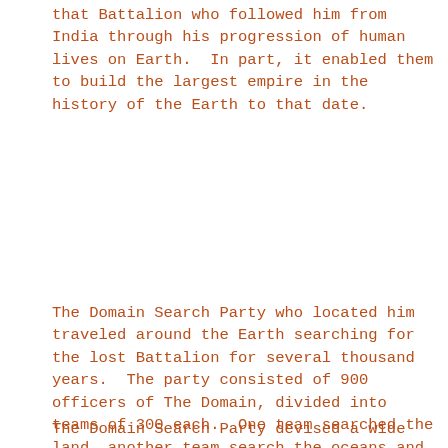that Battalion who followed him from India through his progression of human lives on Earth.  In part, it enabled them to build the largest empire in the history of the Earth to that date.
The Domain Search Party who located him traveled around the Earth searching for the lost Battalion for several thousand years.  The party consisted of 900 officers of The Domain, divided into teams of 300 each.  One team searched the land, another team search the oceans and the third team searched the space surrounding Earth.  There are many reports made in various human civilizations concerning their activities, which humans did not understand, of course.
The Domain Search Party devised a wide